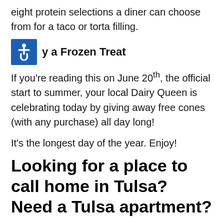eight protein selections a diner can choose from for a taco or torta filling.
y a Frozen Treat
If you're reading this on June 20th, the official start to summer, your local Dairy Queen is celebrating today by giving away free cones (with any purchase) all day long!
It's the longest day of the year. Enjoy!
Looking for a place to call home in Tulsa? Need a Tulsa apartment?
The Place at Quail Hollow is the perfect choice for anyone looking for a Tulsa apartment. Better